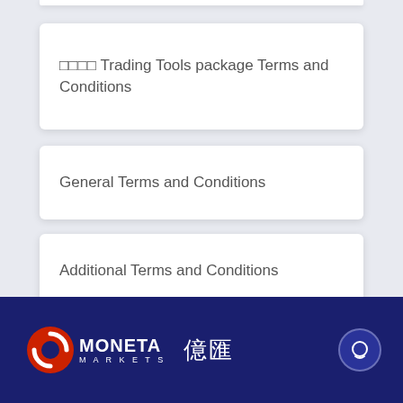□□□□ Trading Tools package Terms and Conditions
General Terms and Conditions
Additional Terms and Conditions
[Figure (logo): Moneta Markets logo with red circular icon, white MONETA MARKETS text, and Chinese characters 億匯 on dark navy blue footer background]